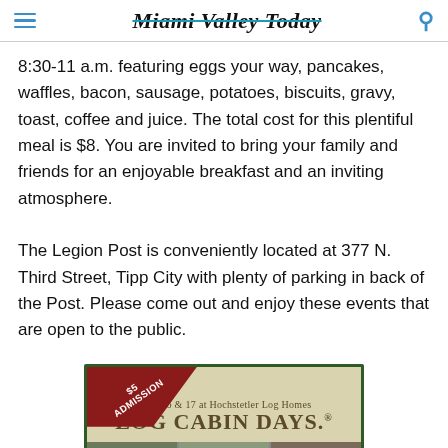Miami Valley Today
8:30-11 a.m. featuring eggs your way, pancakes, waffles, bacon, sausage, potatoes, biscuits, gravy, toast, coffee and juice. The total cost for this plentiful meal is $8. You are invited to bring your family and friends for an enjoyable breakfast and an inviting atmosphere.
The Legion Post is conveniently located at 377 N. Third Street, Tipp City with plenty of parking in back of the Post. Please come out and enjoy these events that are open to the public.
[Figure (infographic): Advertisement for Log Cabin Days event. Features a dark red ribbon banner in top-left corner reading '$5 ADMISSION', set against a tan/beige background with dark green border. Text reads 'Sept. 16 & 17 at Hochstetler Log Homes' and 'LOG CABIN DAYS.' in large serif font. Bottom shows three photo thumbnails.]